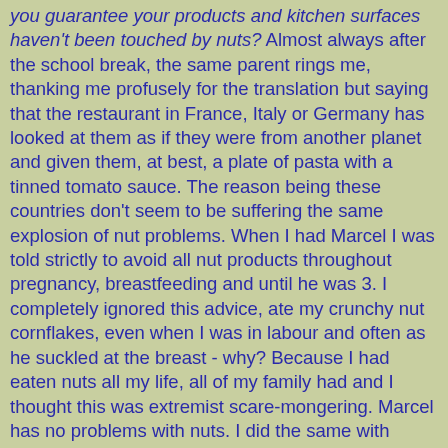you guarantee your products and kitchen surfaces haven't been touched by nuts? Almost always after the school break, the same parent rings me, thanking me profusely for the translation but saying that the restaurant in France, Italy or Germany has looked at them as if they were from another planet and given them, at best, a plate of pasta with a tinned tomato sauce. The reason being these countries don't seem to be suffering the same explosion of nut problems. When I had Marcel I was told strictly to avoid all nut products throughout pregnancy, breastfeeding and until he was 3. I completely ignored this advice, ate my crunchy nut cornflakes, even when I was in labour and often as he suckled at the breast - why? Because I had eaten nuts all my life, all of my family had and I thought this was extremist scare-mongering. Marcel has no problems with nuts. I did the same with Charlotte - she doesn't like nuts but has no allergy either. Interestingly, while being given this terrifying advice by UK GPs, I was over showing Marcel off to the French family when he was 16 weeks old. I decided to buy the odd jar of baby food for him as it was too much hassle to home-cook on a 1 week trip. And what were they selling in the French supermarket (a country which struggles to